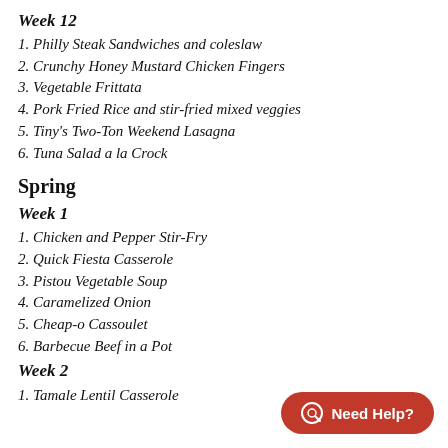Week 12
1. Philly Steak Sandwiches and coleslaw
2. Crunchy Honey Mustard Chicken Fingers
3. Vegetable Frittata
4. Pork Fried Rice and stir-fried mixed veggies
5. Tiny's Two-Ton Weekend Lasagna
6. Tuna Salad a la Crock
Spring
Week 1
1. Chicken and Pepper Stir-Fry
2. Quick Fiesta Casserole
3. Pistou Vegetable Soup
4. Caramelized Onion
5. Cheap-o Cassoulet
6. Barbecue Beef in a Pot
Week 2
1. Tamale Lentil Casserole